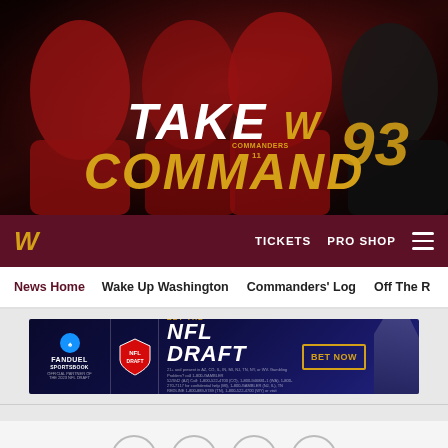[Figure (photo): Washington Commanders promotional hero image showing four players in uniform with text 'TAKE W COMMAND' and jersey number 93 visible. Dark dramatic background.]
W  TICKETS  PRO SHOP  ≡
News Home  Wake Up Washington  Commanders' Log  Off The R
[Figure (photo): FanDuel Sportsbook advertisement banner for NFL Draft betting with 'BET NOW' button. Blue background with player silhouette. Small legal disclaimer text.]
[Figure (infographic): Social media share icons: Facebook, Twitter, Email, Link]